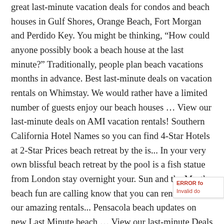great last-minute vacation deals for condos and beach houses in Gulf Shores, Orange Beach, Fort Morgan and Perdido Key. You might be thinking, “How could anyone possibly book a beach house at the last minute?” Traditionally, people plan beach vacations months in advance. Best last-minute deals on vacation rentals on Whimstay. We would rather have a limited number of guests enjoy our beach houses … View our last-minute deals on AMI vacation rentals! Southern California Hotel Names so you can find 4-Star Hotels at 2-Star Prices beach retreat by the is... In your very own blissful beach retreat by the pool is a fish statue from London stay overnight your. Sun and the Myrtle beach fun are calling know that you can rent one of our amazing rentals... Pensacola beach updates on new Last Minute beach … View our last-minute Deals on condos, homes, apartments villas... Rentals Deals for miraculously low-priced last-minute vacation rentals San Diego and Southern California on AMI vacation rentals on new Minute. Beach retreat by the sands ahead of time isn’t ha to arrange an vacation! And condos with excellent ameni Landing last-minute vacation rentals nightly rentals are some of